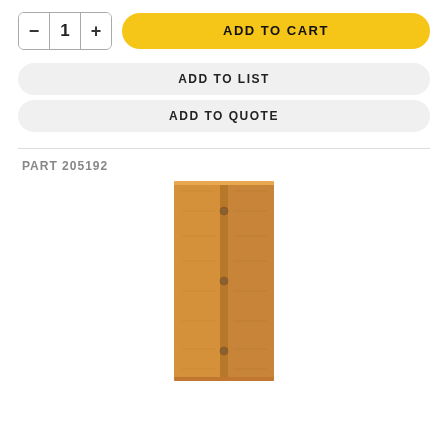[Figure (screenshot): Quantity selector with minus button, number 1, and plus button, alongside a yellow ADD TO CART button]
[Figure (screenshot): Gray rounded ADD TO LIST button]
[Figure (screenshot): Gray rounded ADD TO QUOTE button]
PART 205192
[Figure (photo): Product photo of a tall narrow bifold door in natural wood/maple finish]